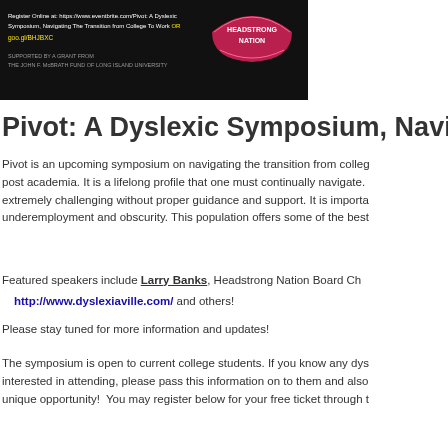[Figure (photo): Dark banner image with text about registering online at Eventbrite for Pivot: A Dyslexic Symposium, Navigating The Transition From College To Work, with a pink/red Headstrong Nation badge and support credit text.]
Pivot: A Dyslexic Symposium, Navigating The
Pivot is an upcoming symposium on navigating the transition from college to post academia. It is a lifelong profile that one must continually navigate. extremely challenging without proper guidance and support. It is importa underemployment and obscurity. This population offers some of the best
Featured speakers include Larry Banks, Headstrong Nation Board Ch http://www.dyslexiaville.com/ and others!
Please stay tuned for more information and updates!
The symposium is open to current college students. If you know any dys interested in attending, please pass this information on to them and also unique opportunity! You may register below for your free ticket through t